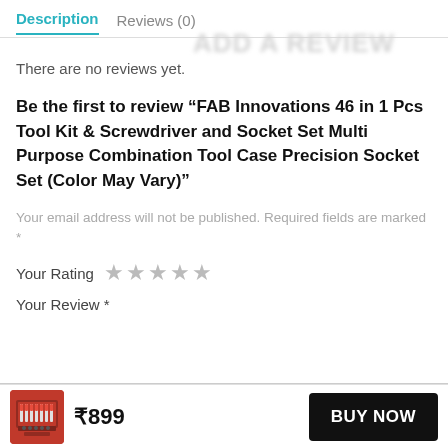Description   Reviews (0)
There are no reviews yet.
Be the first to review “FAB Innovations 46 in 1 Pcs Tool Kit & Screwdriver and Socket Set Multi Purpose Combination Tool Case Precision Socket Set (Color May Vary)”
Your email address will not be published. Required fields are marked *
Your Rating ★★★★★
Your Review *
₹899  BUY NOW